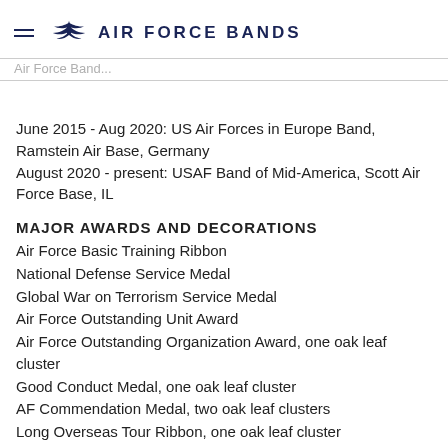AIR FORCE BANDS
June 2015 - Aug 2020: US Air Forces in Europe Band, Ramstein Air Base, Germany
August 2020 - present: USAF Band of Mid-America, Scott Air Force Base, IL
MAJOR AWARDS AND DECORATIONS
Air Force Basic Training Ribbon
National Defense Service Medal
Global War on Terrorism Service Medal
Air Force Outstanding Unit Award
Air Force Outstanding Organization Award, one oak leaf cluster
Good Conduct Medal, one oak leaf cluster
AF Commendation Medal, two oak leaf clusters
Long Overseas Tour Ribbon, one oak leaf cluster